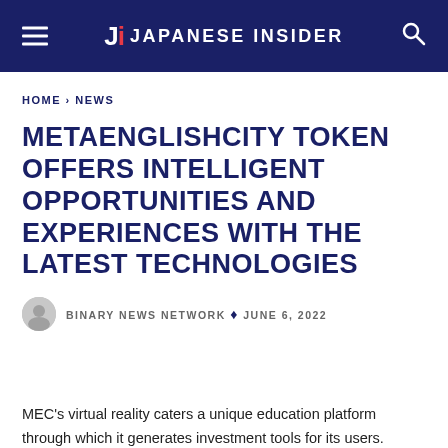Ji Japanese Insider
HOME › NEWS
METAENGLISHCITY TOKEN OFFERS INTELLIGENT OPPORTUNITIES AND EXPERIENCES WITH THE LATEST TECHNOLOGIES
BINARY NEWS NETWORK • JUNE 6, 2022
MEC's virtual reality caters a unique education platform through which it generates investment tools for its users. MetaEnglishCity establishes a new perspective of English Education through its crypto platform.